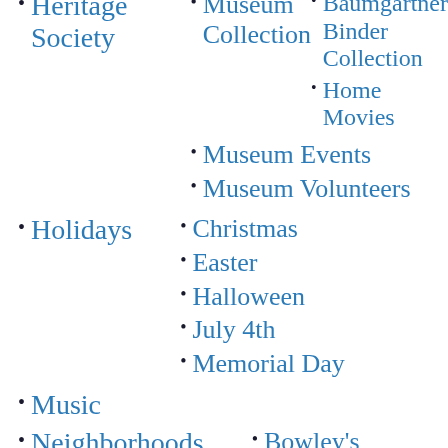Heritage Society
Museum Collection
Baumgartner Binder Collection
Home Movies
Museum Events
Museum Volunteers
Holidays
Christmas
Easter
Halloween
July 4th
Memorial Day
Music
Neighborhoods
Bowley's Quarters
Middle River